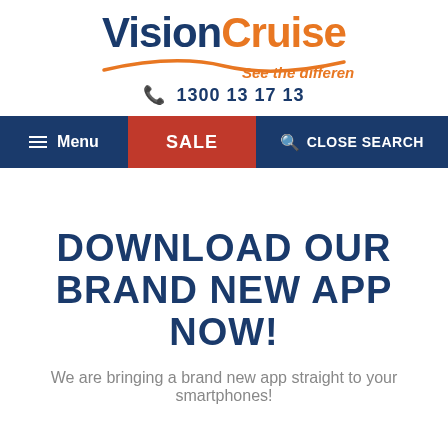[Figure (logo): VisionCruise logo with blue 'Vision' and orange 'Cruise' text, orange wave graphic, and italic orange tagline 'See the difference']
📞 1300 13 17 13
≡ Menu | SALE | 🔍 CLOSE SEARCH
DOWNLOAD OUR BRAND NEW APP NOW!
We are bringing a brand new app straight to your smartphones!